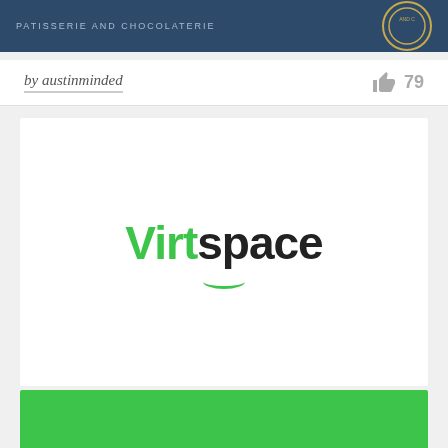[Figure (logo): Top banner with dark blue background, text 'PATISSERIE AND CHOCOLATERIE' and a circular emblem on the right]
by austinminded
79
[Figure (logo): Virtspace logo on white background - 'Virt' in green, 'space' in dark/black, with a green smile arc underline]
[Figure (logo): Virtspace logo on green background - 'Virt' in white, 'space' in white, with a white smile arc underline]